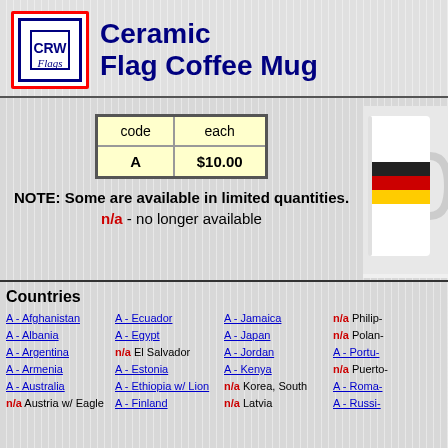[Figure (logo): CRW Flags logo with red border and stars]
Ceramic Flag Coffee Mug
| code | each |
| --- | --- |
| A | $10.00 |
NOTE: Some are available in limited quantities. n/a - no longer available
[Figure (photo): Ceramic coffee mug with flag design]
Countries
A - Afghanistan
A - Albania
A - Argentina
A - Armenia
A - Australia
n/a Austria w/ Eagle
A - Ecuador
A - Egypt
n/a El Salvador
A - Estonia
A - Ethiopia w/ Lion
A - Finland
A - Jamaica
A - Japan
A - Jordan
A - Kenya
n/a Korea, South
n/a Latvia
n/a Philip-
n/a Polan-
A - Portu-
n/a Puerto-
A - Roma-
A - Russi-